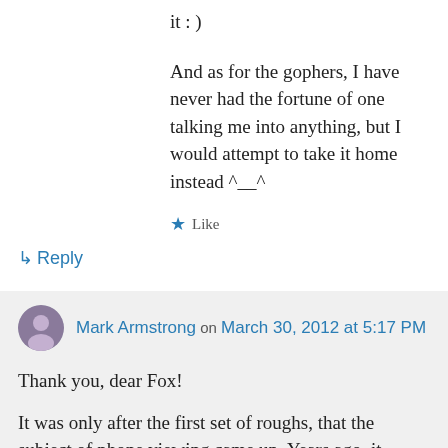it : )
And as for the gophers, I have never had the fortune of one talking me into anything, but I would attempt to take it home instead ^__^
★ Like
↳ Reply
Mark Armstrong on March 30, 2012 at 5:17 PM
Thank you, dear Fox!
It was only after the first set of roughs, that the subject of phone viewing came up. Years ago, it would have bothered me: Why didn't you tell me that to begin with???? etc. I've come to understand that more...